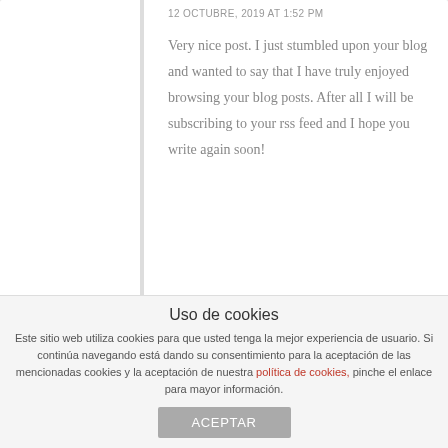12 OCTUBRE, 2019 AT 1:52 PM
Very nice post. I just stumbled upon your blog and wanted to say that I have truly enjoyed browsing your blog posts. After all I will be subscribing to your rss feed and I hope you write again soon!
film acting
13 OCTUBRE, 2019 AT 12:18 AM
Uso de cookies
Este sitio web utiliza cookies para que usted tenga la mejor experiencia de usuario. Si continúa navegando está dando su consentimiento para la aceptación de las mencionadas cookies y la aceptación de nuestra política de cookies, pinche el enlace para mayor información.
ACEPTAR